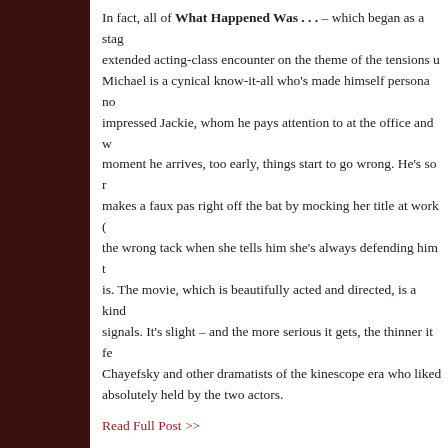In fact, all of What Happened Was . . . – which began as a stage... absolutely held by the two actors.
Read Full Post >>
Posted by Critics at Large at 12:00 PM   1 comments
Labels: Film, Neglected Gems, Steve Vineberg
Thursday, June 12, 2014
Treading Water: NBC's Crossbones
[Figure (photo): Photo strip showing scene from NBC's Crossbones]